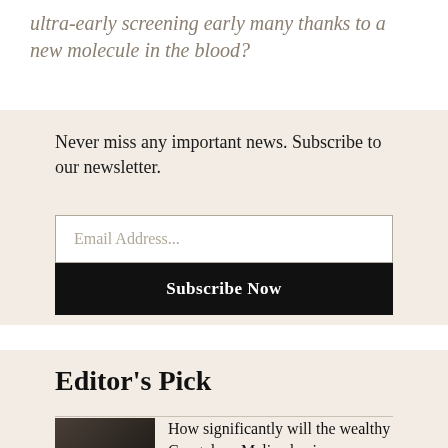ultra-early screening early many thanks to a new molecule in the blood?
Never miss any important news. Subscribe to our newsletter.
Email Address...
Subscribe Now
Editor's Pick
How significantly will the wealthy Congolese-Malian business woman...